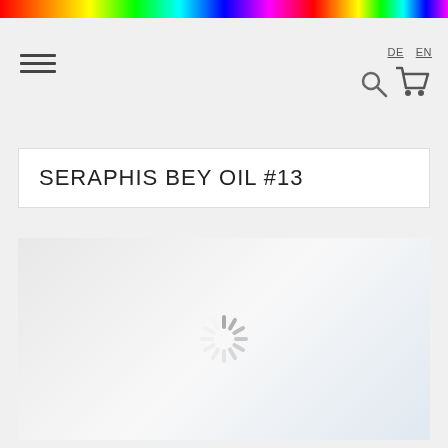[Figure (illustration): Rainbow gradient horizontal bar at the top of the page]
[Figure (illustration): Hamburger menu icon (three horizontal lines)]
DE  EN
[Figure (illustration): Search icon (magnifying glass) and shopping cart icon]
SERAPHIS BEY OIL #13
[Figure (illustration): Product image area with loading spinner (radial dashes in gray)]